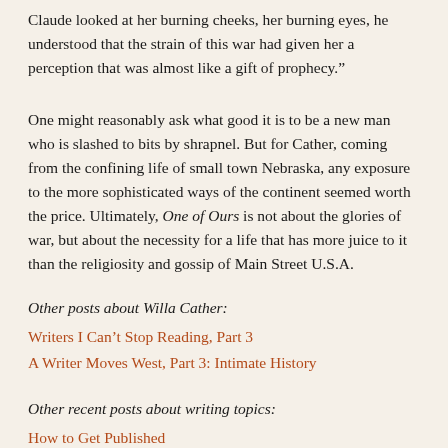Claude looked at her burning cheeks, her burning eyes, he understood that the strain of this war had given her a perception that was almost like a gift of prophecy.”
One might reasonably ask what good it is to be a new man who is slashed to bits by shrapnel. But for Cather, coming from the confining life of small town Nebraska, any exposure to the more sophisticated ways of the continent seemed worth the price. Ultimately, One of Ours is not about the glories of war, but about the necessity for a life that has more juice to it than the religiosity and gossip of Main Street U.S.A.
Other posts about Willa Cather:
Writers I Can’t Stop Reading, Part 3
A Writer Moves West, Part 3: Intimate History
Other recent posts about writing topics:
How to Get Published
Getting the Most from Your Writing Workshop
How Not to Become a Literary Dropout